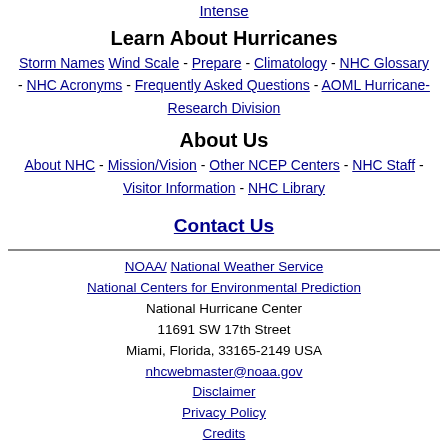Intense
Learn About Hurricanes
Storm Names Wind Scale - Prepare - Climatology - NHC Glossary - NHC Acronyms - Frequently Asked Questions - AOML Hurricane-Research Division
About Us
About NHC - Mission/Vision - Other NCEP Centers - NHC Staff - Visitor Information - NHC Library
Contact Us
NOAA/ National Weather Service National Centers for Environmental Prediction National Hurricane Center 11691 SW 17th Street Miami, Florida, 33165-2149 USA nhcwebmaster@noaa.gov Disclaimer Privacy Policy Credits About Us Glossary Career Opportunities